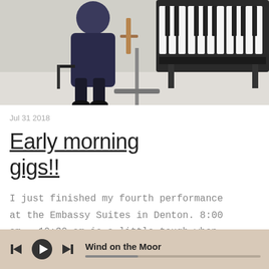[Figure (photo): Photo of a person seated at a piano/keyboard in a room with musical instruments including a digital piano on a stand]
Jul 31 2018
Early morning gigs!!
I just finished my fourth performance at the Embassy Suites in Denton. 8:00 am - 10:30 am is a little tough when you also have to drive for an hour to get there and set up a PA system! :-)...
Wind on the Moor